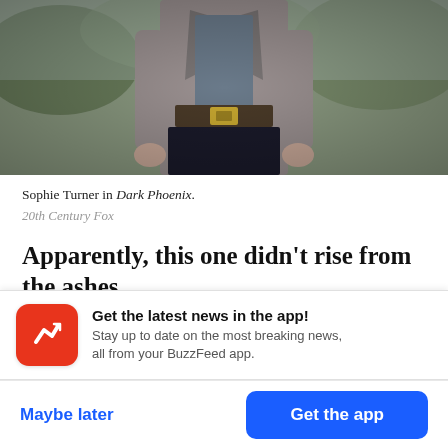[Figure (photo): A person (Sophie Turner) in costume from Dark Phoenix, showing torso area with jacket and belt, outdoors background]
Sophie Turner in Dark Phoenix.
20th Century Fox
Apparently, this one didn't rise from the ashes.
Dark Phoenix, the 12th and ostensibly final film in the 19-year-old X-Men franchise, launched with a whimper, grossing just an estimated $33 million at
Get the latest news in the app! Stay up to date on the most breaking news, all from your BuzzFeed app.
Maybe later
Get the app